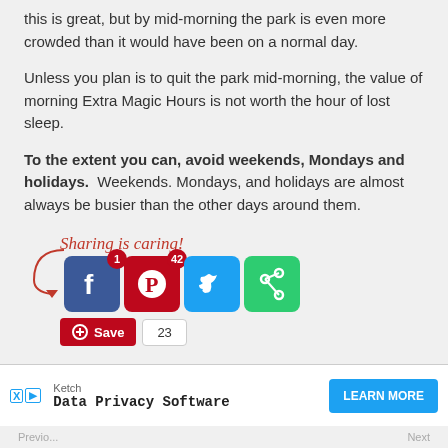this is great, but by mid-morning the park is even more crowded than it would have been on a normal day.
Unless you plan is to quit the park mid-morning, the value of morning Extra Magic Hours is not worth the hour of lost sleep.
To the extent you can, avoid weekends, Mondays and holidays.  Weekends. Mondays, and holidays are almost always be busier than the other days around them.
[Figure (infographic): Sharing is caring! social sharing buttons for Facebook (1), Pinterest (42), Twitter, and a share icon, with a Pinterest Save button showing 23 saves.]
[Figure (screenshot): Advertisement bar at the bottom: Ketch Data Privacy Software with a LEARN MORE button.]